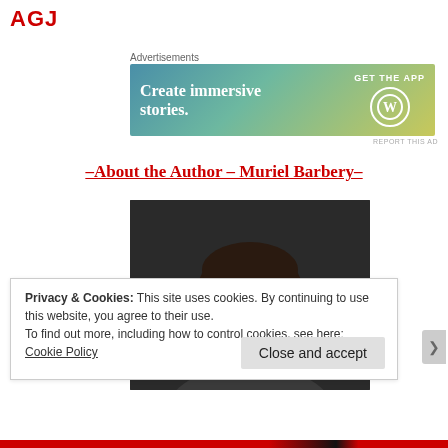AGJ
Advertisements
[Figure (screenshot): WordPress advertisement banner: 'Create immersive stories. GET THE APP' with WordPress logo on gradient blue-green-yellow background]
–About the Author – Muriel Barbery–
[Figure (photo): Portrait photo of Muriel Barbery, a woman with dark shoulder-length hair, smiling, against a dark gray background]
Privacy & Cookies: This site uses cookies. By continuing to use this website, you agree to their use.
To find out more, including how to control cookies, see here:
Cookie Policy
Close and accept